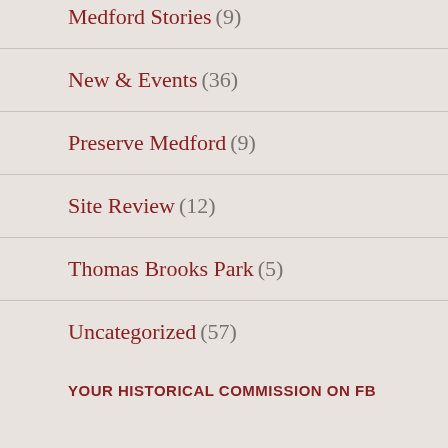Medford Stories (9)
New & Events (36)
Preserve Medford (9)
Site Review (12)
Thomas Brooks Park (5)
Uncategorized (57)
YOUR HISTORICAL COMMISSION ON FB